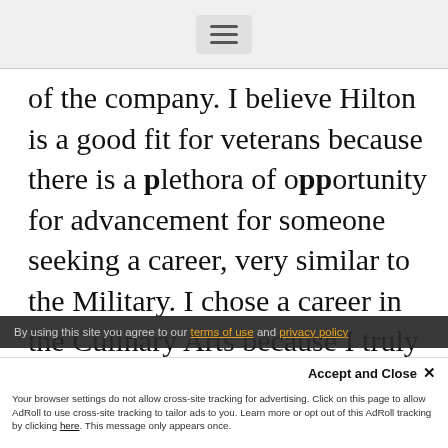[hamburger menu icon]
of the company. I believe Hilton is a good fit for veterans because there is a plethora of opportunity for advancement for someone seeking a career, very similar to the Military. I chose a career in the Culinary Arts because I truly have a passion and love for cooking. It provides me with
By using this site you agree to our terms of use and privacy policy
Accept and Close ✕
Your browser settings do not allow cross-site tracking for advertising. Click on this page to allow AdRoll to use cross-site tracking to tailor ads to you. Learn more or opt out of this AdRoll tracking by clicking here. This message only appears once.